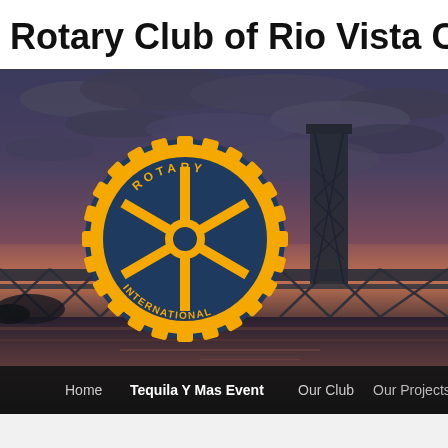Rotary Club of Rio Vista Califo
[Figure (screenshot): Hero banner image showing the Rotary International logo (gold gear wheel with 'ROTARY INTERNATIONAL' text) overlaid on a twilight photo of a lift bridge over a river with a dramatic cloudy sky. Navigation bar at the bottom with links: Home, Tequila Y Mas Event, Our Club, Our Projects, News an]
Home   Tequila Y Mas Event   Our Club   Our Projects   News an